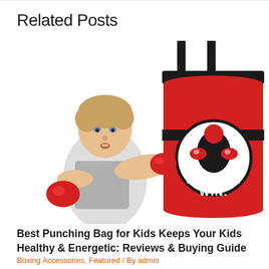Related Posts
[Figure (photo): A young boy wearing red boxing gloves punching a red punching bag that has a logo reading FOCUS. TRAIN. WIN. with a boxer illustration on it. White background.]
Best Punching Bag for Kids Keeps Your Kids Healthy & Energetic: Reviews & Buying Guide
Boxing Accessories, Featured / By admin